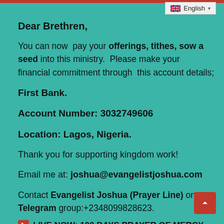English (language selector)
Dear Brethren,
You can now pay your offerings, tithes, sow a seed into this ministry. Please make your financial commitment through this account details;
First Bank.
Account Number: 3032749606
Location: Lagos, Nigeria.
Thank you for supporting kingdom work!
Email me at: joshua@evangelistjoshua.com
Contact Evangelist Joshua (Prayer Line) on Telegram group:+2348099828623.
LIVE NOW: 100 DAYS PRAYER OF MERCY